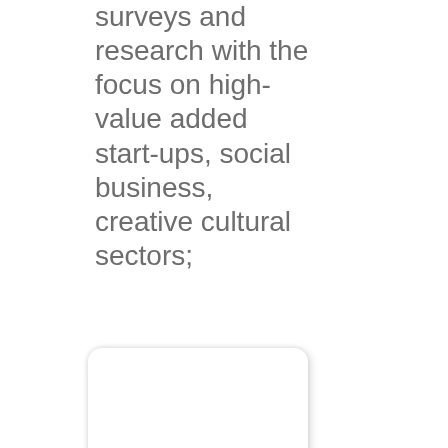surveys and research with the focus on high-value added start-ups, social business, creative cultural sectors;
[Figure (other): A white card/box element with rounded corners and a subtle drop shadow, partially visible at the bottom of the page.]